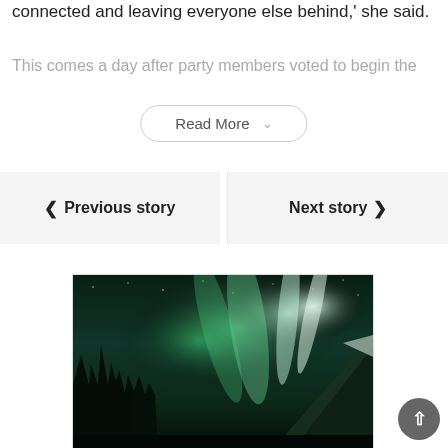connected and leaving everyone else behind,' she said.
This comes a day after party members voted to begin the
Read More ∨
◀ Previous story
Next story ▶
[Figure (photo): Aurora borealis (northern lights) with green streaks over silhouetted pine trees and a snow-capped mountain, night sky with stars]